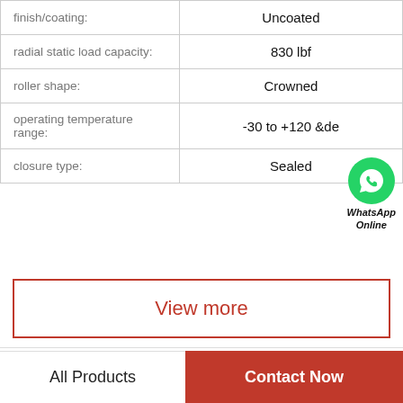| Property | Value |
| --- | --- |
| finish/coating: | Uncoated |
| radial static load capacity: | 830 lbf |
| roller shape: | Crowned |
| operating temperature range: | -30 to +120 &de |
| closure type: | Sealed |
View more
Company Profile
All Products
Contact Now